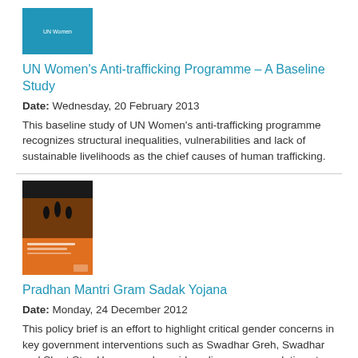[Figure (photo): Blue book cover for UN Women Anti-trafficking Programme baseline study]
UN Women's Anti-trafficking Programme – A Baseline Study
Date: Wednesday, 20 February 2013
This baseline study of UN Women's anti-trafficking programme recognizes structural inequalities, vulnerabilities and lack of sustainable livelihoods as the chief causes of human trafficking.
[Figure (photo): Book cover for Pradhan Mantri Gram Sadak Yojana - orange and black cover with silhouette image]
Pradhan Mantri Gram Sadak Yojana
Date: Monday, 24 December 2012
This policy brief is an effort to highlight critical gender concerns in key government interventions such as Swadhar Greh, Swadhar and Short Stay Homes, and provide policy recommendations to address them. It culls out gaps in policies, implementation and budgets, and suggests how these schemes can be strengthened.